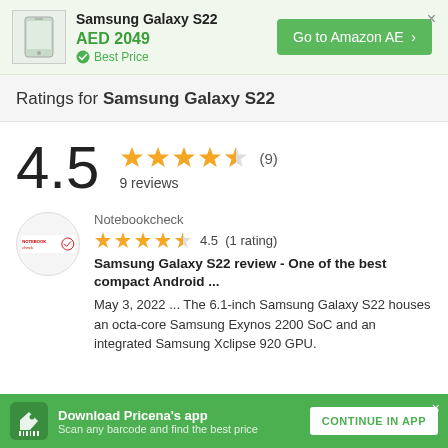[Figure (screenshot): Samsung Galaxy S22 product card showing price AED 2049 and Go to Amazon AE button]
Ratings for Samsung Galaxy S22
4.5  ★★★★½ (9)  9 reviews
[Figure (logo): Notebookcheck logo in circular frame]
Notebookcheck
★★★★½  4.5  (1 rating)
Samsung Galaxy S22 review - One of the best compact Android ...
May 3, 2022 ... The 6.1-inch Samsung Galaxy S22 houses an octa-core Samsung Exynos 2200 SoC and an integrated Samsung Xclipse 920 GPU.
Download Pricena's app  Scan any barcode and find the best price  CONTINUE IN APP